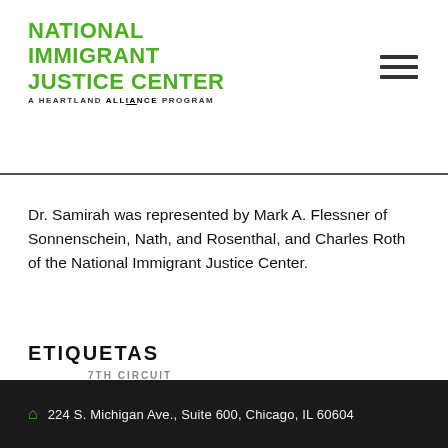NATIONAL IMMIGRANT JUSTICE CENTER — A HEARTLAND ALLIANCE PROGRAM
Dr. Samirah was represented by Mark A. Flessner of Sonnenschein, Nath, and Rosenthal, and Charles Roth of the National Immigrant Justice Center.
ETIQUETAS
7TH CIRCUIT
224 S. Michigan Ave., Suite 600, Chicago, IL 60604